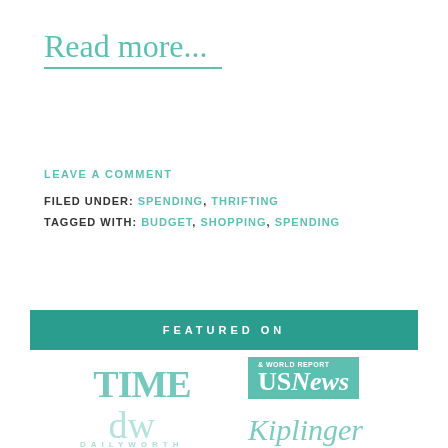Read more...
LEAVE A COMMENT
FILED UNDER: SPENDING, THRIFTING
TAGGED WITH: BUDGET, SHOPPING, SPENDING
FEATURED ON
[Figure (logo): TIME magazine logo in teal]
[Figure (logo): U.S. News & World Report logo in teal box]
[Figure (logo): DailyWorth logo dw with DAILYWORTH text in teal, faded]
[Figure (logo): Kiplinger logo in teal italic]
[Figure (logo): Teal box logo, circle logo, and USA text at bottom]